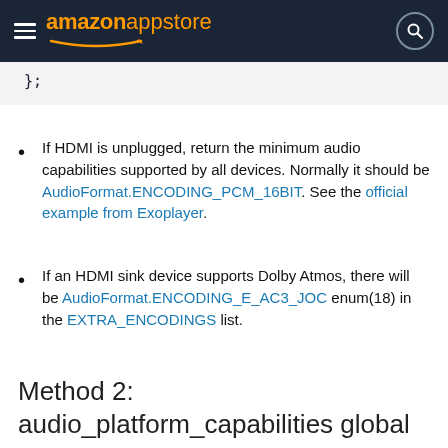amazon appstore
};
If HDMI is unplugged, return the minimum audio capabilities supported by all devices. Normally it should be AudioFormat.ENCODING_PCM_16BIT. See the official example from Exoplayer.
If an HDMI sink device supports Dolby Atmos, there will be AudioFormat.ENCODING_E_AC3_JOC enum(18) in the EXTRA_ENCODINGS list.
Method 2: audio_platform_capabilities global